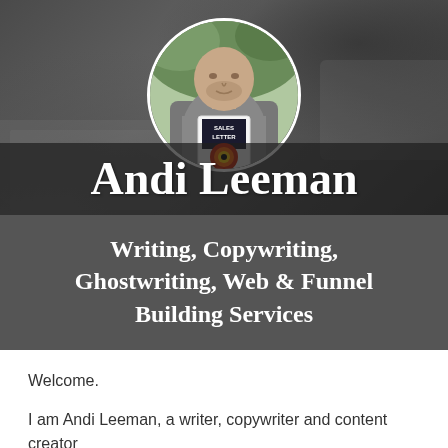[Figure (photo): Circular profile photo of Andi Leeman, a bald man in a grey sweater holding a book titled 'Sales Letter', seated outdoors with greenery in background. Dark grey blurred background showing a laptop.]
Andi Leeman
Writing, Copywriting, Ghostwriting, Web & Funnel Building Services
Welcome.
I am Andi Leeman, a writer, copywriter and content creator